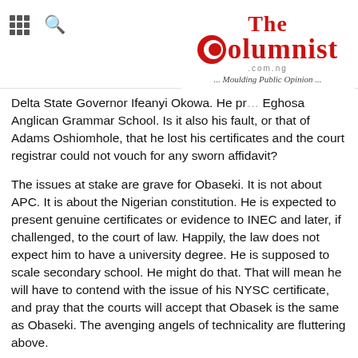The Columnist - Moulding Public Opinion - thecolumnist.com.ng
Delta State Governor Ifeanyi Okowa. He pr... Eghosa Anglican Grammar School. Is it also his fault, or that of Adams Oshiomhole, that he lost his certificates and the court registrar could not vouch for any sworn affidavit?
The issues at stake are grave for Obaseki. It is not about APC. It is about the Nigerian constitution. He is expected to present genuine certificates or evidence to INEC and later, if challenged, to the court of law. Happily, the law does not expect him to have a university degree. He is supposed to scale secondary school. He might do that. That will mean he will have to contend with the issue of his NYSC certificate, and pray that the courts will accept that Obasek is the same as Obaseki. The avenging angels of technicality are fluttering above.
It is not a matter of whether he served but whether he served right. The law has its way of defining justice. It may be justice on the streets. It may not be in the vault of law. If Obaseki indeed did well in high school, the law did not see it. If he did well to enter the university and the law did not see it, who will see it? It is not a matter of who is on